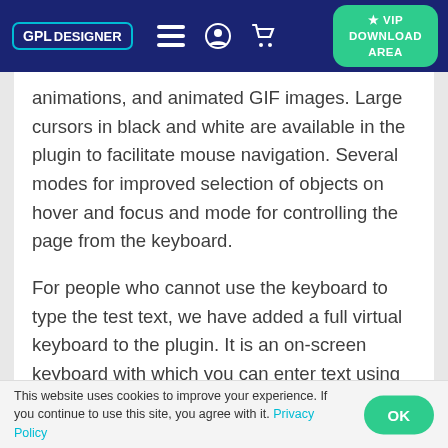GPL DESIGNER | VIP DOWNLOAD AREA
animations, and animated GIF images. Large cursors in black and white are available in the plugin to facilitate mouse navigation. Several modes for improved selection of objects on hover and focus and mode for controlling the page from the keyboard.
For people who cannot use the keyboard to type the test text, we have added a full virtual keyboard to the plugin. It is an on-screen keyboard with which you can enter text using
This website uses cookies to improve your experience. If you continue to use this site, you agree with it. Privacy Policy